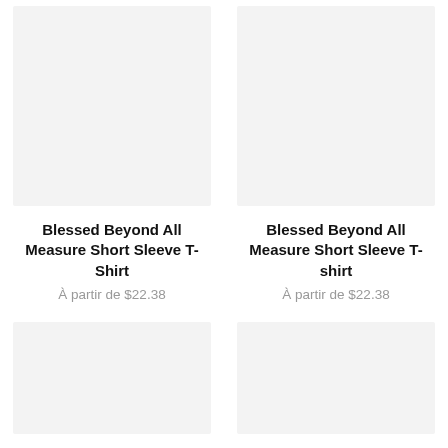[Figure (photo): Product image placeholder — light gray rectangle for Blessed Beyond All Measure Short Sleeve T-Shirt (left, top)]
Blessed Beyond All Measure Short Sleeve T-Shirt
À partir de $22.38
[Figure (photo): Product image placeholder — light gray rectangle for Blessed Beyond All Measure Short Sleeve T-shirt (right, top)]
Blessed Beyond All Measure Short Sleeve T-shirt
À partir de $22.38
[Figure (photo): Product image placeholder — light gray rectangle (left, bottom)]
[Figure (photo): Product image placeholder — light gray rectangle (right, bottom)]